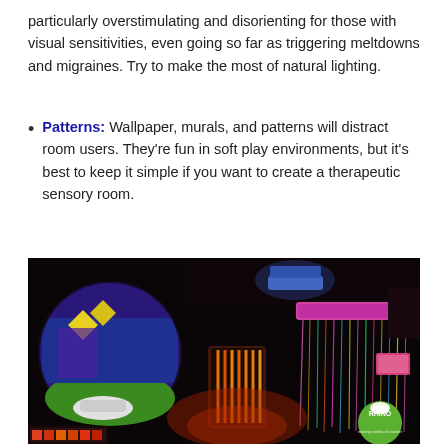particularly overstimulating and disorienting for those with visual sensitivities, even going so far as triggering meltdowns and migraines. Try to make the most of natural lighting.
Patterns: Wallpaper, murals, and patterns will distract room users. They're fun in soft play environments, but it's best to keep it simple if you want to create a therapeutic sensory room.
[Figure (photo): A dark sensory room with colorful lighting elements: a circular projection screen showing a colorful scene on the left, a fiber optic curtain with pink/magenta top rail in the center-right, a glowing orange/red panel in the center, blue LED light overhead, and a Rhino logo in the bottom-right corner.]